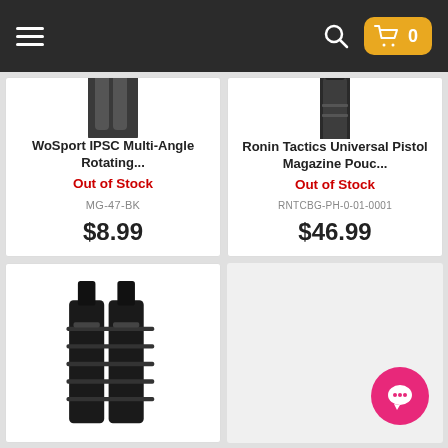Navigation bar with hamburger menu, search icon, and cart (0 items)
[Figure (photo): WoSport IPSC Multi-Angle Rotating holster product image in black]
WoSport IPSC Multi-Angle Rotating...
Out of Stock
MG-47-BK
$8.99
[Figure (photo): Ronin Tactics Universal Pistol Magazine Pouch product image in black]
Ronin Tactics Universal Pistol Magazine Pouc...
Out of Stock
RNTCBG-PH-0-01-0001
$46.99
[Figure (photo): Black double magazine pouch with MOLLE webbing, partial view at bottom of page]